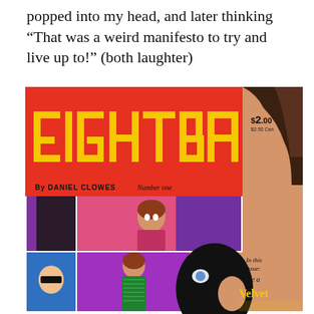popped into my head, and later thinking "That was a weird manifesto to try and live up to!" (both laughter)
[Figure (illustration): Cover of Eightball comic book Number One by Daniel Clowes. Red background with large yellow block letters spelling EIGHTBALL. Price tag $2.00 / $2.50 Can. in top right. By Daniel Clowes, Number one credits. Lower half shows comic panels: a woman in a doorway with dramatic lighting, a man in a mask, a woman in a green dress, and a close-up of a masked face. Bottom right text reads 'In this issue: Like a Velvet...']